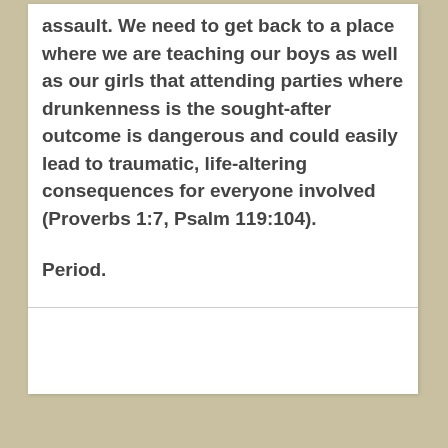assault. We need to get back to a place where we are teaching our boys as well as our girls that attending parties where drunkenness is the sought-after outcome is dangerous and could easily lead to traumatic, life-altering consequences for everyone involved (Proverbs 1:7, Psalm 119:104).

Period.